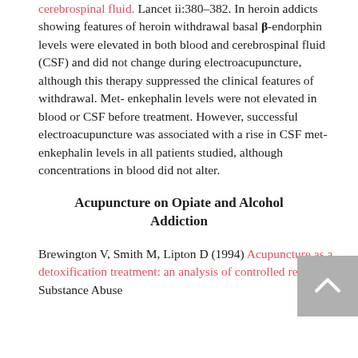cerebrospinal fluid. Lancet ii:380-382. In heroin addicts showing features of heroin withdrawal basal β-endorphin levels were elevated in both blood and cerebrospinal fluid (CSF) and did not change during electroacupuncture, although this therapy suppressed the clinical features of withdrawal. Met-enkephalin levels were not elevated in blood or CSF before treatment. However, successful electroacupuncture was associated with a rise in CSF met-enkephalin levels in all patients studied, although concentrations in blood did not alter.
Acupuncture on Opiate and Alcohol Addiction
Brewington V, Smith M, Lipton D (1994) Acupuncture as a detoxification treatment: an analysis of controlled research. J Substance Abuse